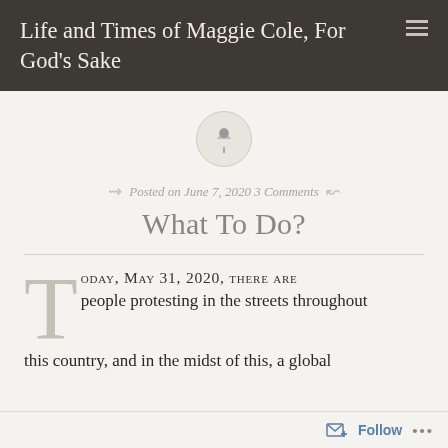Life and Times of Maggie Cole, For God's Sake
[Figure (illustration): Pin/thumbtack icon inside a light gray circle]
Posted on June 7, 2020 3 Comments
What To Do?
TODAY, MAY 31, 2020, THERE ARE people protesting in the streets throughout this country, and in the midst of this, a global
Follow ...